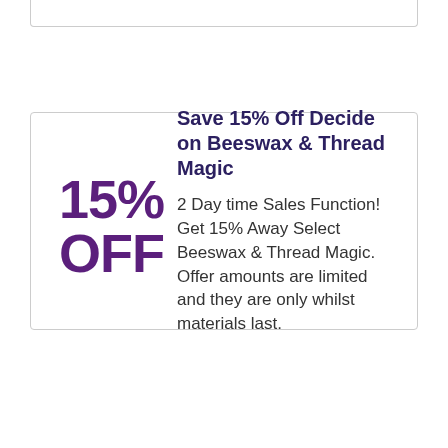Save 15% Off Decide on Beeswax & Thread Magic
2 Day time Sales Function! Get 15% Away Select Beeswax & Thread Magic. Offer amounts are limited and they are only whilst materials last.